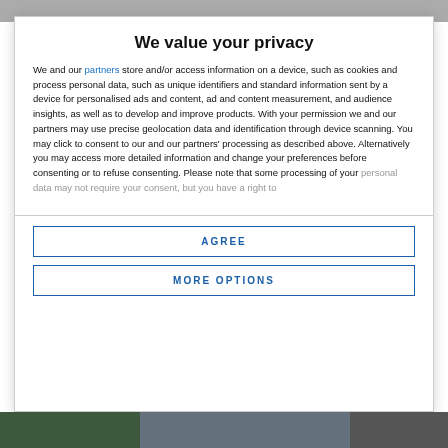We value your privacy
We and our partners store and/or access information on a device, such as cookies and process personal data, such as unique identifiers and standard information sent by a device for personalised ads and content, ad and content measurement, and audience insights, as well as to develop and improve products. With your permission we and our partners may use precise geolocation data and identification through device scanning. You may click to consent to our and our partners' processing as described above. Alternatively you may access more detailed information and change your preferences before consenting or to refuse consenting. Please note that some processing of your personal data may not require your consent, but you have a right to
AGREE
MORE OPTIONS
[Figure (photo): Bottom strip showing partial images of outdoor/nature scenes]